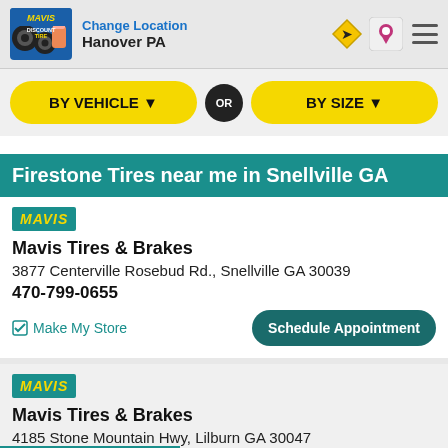Change Location Hanover PA
BY VEHICLE ▼  OR  BY SIZE ▼
Firestone Tires near me in Snellville GA
MAVIS
Mavis Tires & Brakes
3877 Centerville Rosebud Rd., Snellville GA 30039
470-799-0655
Make My Store
Schedule Appointment
MAVIS
Mavis Tires & Brakes
4185 Stone Mountain Hwy, Lilburn GA 30047
Call Store
Schedule Appointment